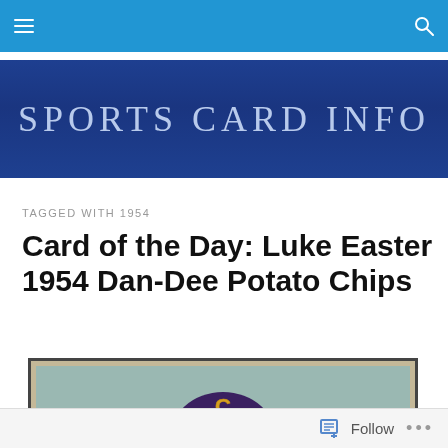Sports Card Info - navigation bar
[Figure (logo): Sports Card Info website logo banner — dark blue background with 'SPORTS CARD INFO' text in light blue/silver thin serif letters]
TAGGED WITH 1954
Card of the Day: Luke Easter 1954 Dan-Dee Potato Chips
[Figure (photo): Partial photo of a 1954 Dan-Dee Potato Chips baseball card featuring Luke Easter, showing the top portion of the card with a player wearing a dark cap with a 'C' logo, against a teal/green background, card has aged/yellowed border]
Follow